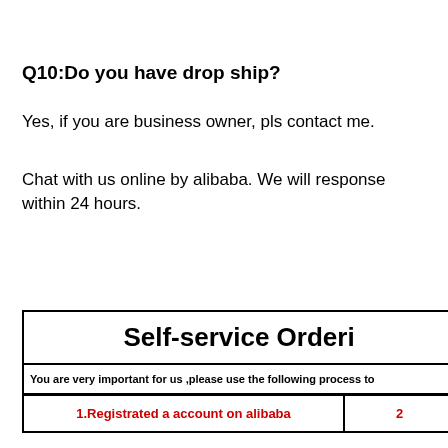Q10:Do you have drop ship?
Yes, if you are business owner, pls contact me.
Chat with us online by alibaba. We will response within 24 hours.
| Self-service Ordering |
| --- |
| You are very important for us ,please use the following process to |
| 1.Registrated a account on alibaba | 2 |